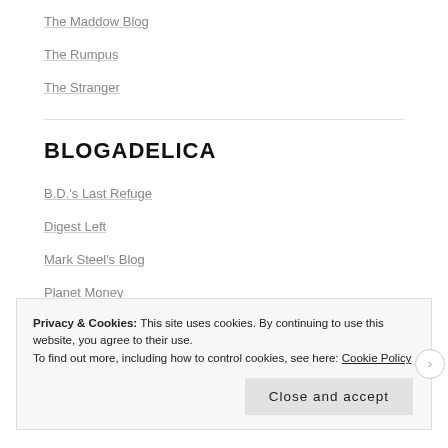The Maddow Blog
The Rumpus
The Stranger
BLOGADELICA
B.D.'s Last Refuge
Digest Left
Mark Steel's Blog
Planet Money
Privacy & Cookies: This site uses cookies. By continuing to use this website, you agree to their use.
To find out more, including how to control cookies, see here: Cookie Policy
Close and accept